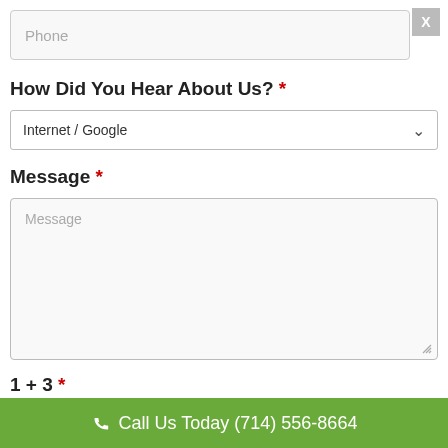Phone
How Did You Hear About Us? *
Internet / Google
Message *
Message
1 + 3 *
1 + 3 = ?
Call Us Today (714) 556-8664